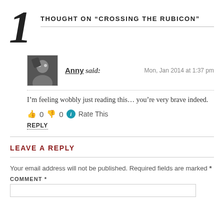1 THOUGHT ON “CROSSING THE RUBICON”
Anny said: Mon, Jan 2014 at 1:37 pm
I’m feeling wobbly just reading this… you’re very brave indeed.
👍 0 👎 0 ⓘ Rate This
REPLY
LEAVE A REPLY
Your email address will not be published. Required fields are marked *
COMMENT *